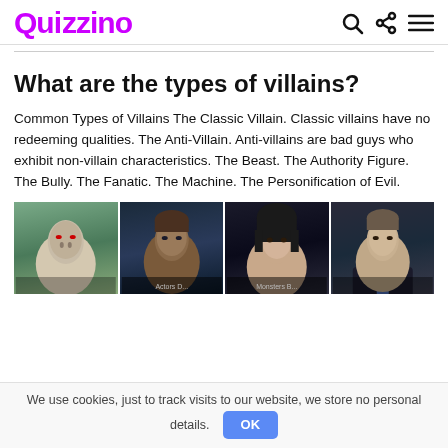Quizzino
What are the types of villains?
Common Types of Villains The Classic Villain. Classic villains have no redeeming qualities. The Anti-Villain. Anti-villains are bad guys who exhibit non-villain characteristics. The Beast. The Authority Figure. The Bully. The Fanatic. The Machine. The Personification of Evil.
[Figure (photo): Four villain character photos side by side: Voldemort from Harry Potter, a dark brooding young man, a dark-haired woman, and Hannibal Lecter.]
We use cookies, just to track visits to our website, we store no personal details.